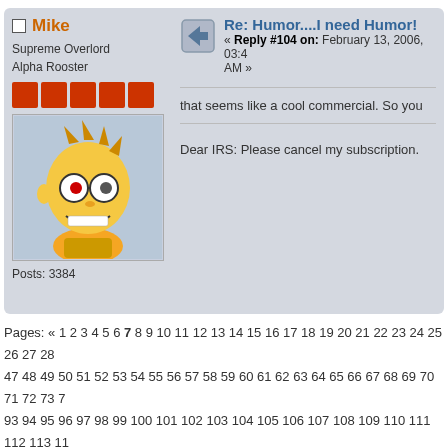Mike
Supreme Overlord
Alpha Rooster
[Figure (illustration): Cartoon avatar of a character resembling Bart Simpson with glasses and grin]
Posts: 3384
Re: Humor....I need Humor!
« Reply #104 on: February 13, 2006, 03:4 AM »
that seems like a cool commercial. So you...
Dear IRS: Please cancel my subscription.
Pages: « 1 2 3 4 5 6 7 8 9 10 11 12 13 14 15 16 17 18 19 20 21 22 23 24 25 26 27 28 47 48 49 50 51 52 53 54 55 56 57 58 59 60 61 62 63 64 65 66 67 68 69 70 71 72 73 7 93 94 95 96 97 98 99 100 101 102 103 104 105 106 107 108 109 110 111 112 113 11 128 129 130 131 132 133 134 135 136 137 138 139 140 141 142 143 144 145 146 14 161 162 163 164 165 166 167 168 »
Chicken Wings Forum » Roost Air Lounge » General Discussion » Humor....I need Hume...